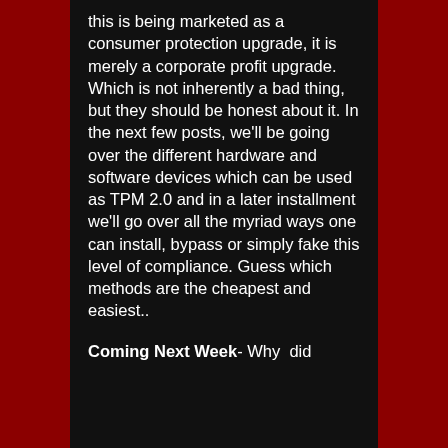this is being marketed as a consumer protection upgrade, it is merely a corporate profit upgrade. Which is not inherently a bad thing, but they should be honest about it. In the next few posts, we'll be going over the different hardware and software devices which can be used as TPM 2.0 and in a later installment we'll go over all the myriad ways one can install, bypass or simply fake this level of compliance. Guess which methods are the cheapest and easiest..
Coming Next Week- Why did